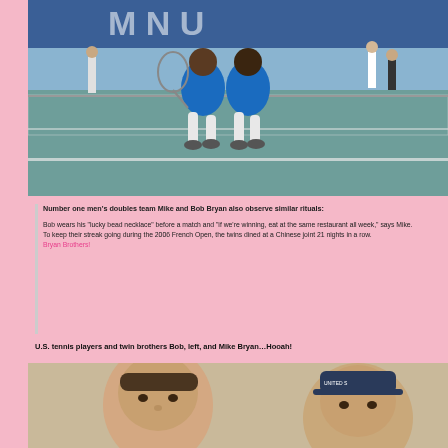[Figure (photo): Two tennis players (Mike and Bob Bryan) jumping and chest-bumping at a tennis net on a hard court with spectators in background]
Number one men's doubles team Mike and Bob Bryan also observe similar rituals:

Bob wears his "lucky bead necklace" before a match and "if we're winning, eat at the same restaurant all week," says Mike.
To keep their streak going during the 2006 French Open, the twins dined at a Chinese joint 21 nights in a row.
Bryan Brothers!
U.S. tennis players and twin brothers Bob, left, and Mike Bryan…Hooah!
[Figure (photo): Close-up photo of twin brothers Bob and Mike Bryan at the bottom of the page]